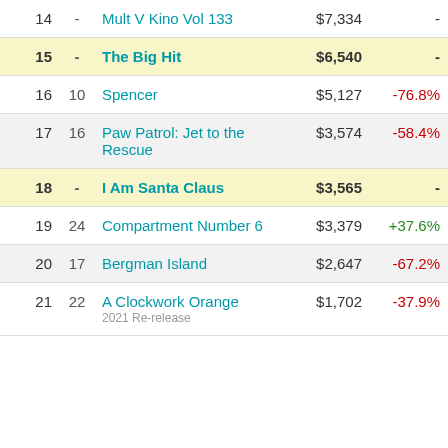| Rank | Last | Title | Gross | Change |
| --- | --- | --- | --- | --- |
| 14 | - | Mult V Kino Vol 133 | $7,334 | - |
| 15 | - | The Big Hit | $6,540 | - |
| 16 | 10 | Spencer | $5,127 | -76.8% |
| 17 | 16 | Paw Patrol: Jet to the Rescue | $3,574 | -58.4% |
| 18 | - | I Am Santa Claus | $3,565 | - |
| 19 | 24 | Compartment Number 6 | $3,379 | +37.6% |
| 20 | 17 | Bergman Island | $2,647 | -67.2% |
| 21 | 22 | A Clockwork Orange | $1,702 | -37.9% |